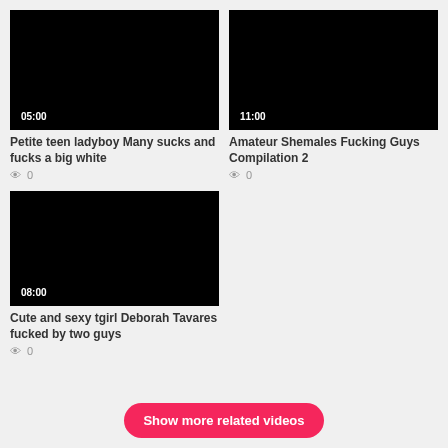[Figure (screenshot): Black video thumbnail with duration label 05:00]
Petite teen ladyboy Many sucks and fucks a big white
👁 0
[Figure (screenshot): Black video thumbnail with duration label 11:00]
Amateur Shemales Fucking Guys Compilation 2
👁 0
[Figure (screenshot): Black video thumbnail with duration label 08:00]
Cute and sexy tgirl Deborah Tavares fucked by two guys
👁 0
Show more related videos